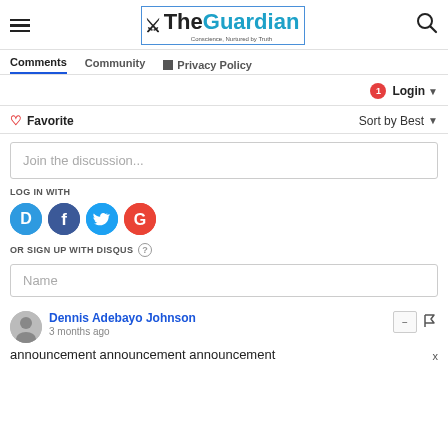[Figure (logo): The Guardian newspaper logo with hamburger menu and search icon]
Comments  Community  Privacy Policy
Login ▾
♡ Favorite   Sort by Best ▾
Join the discussion...
LOG IN WITH
[Figure (infographic): Social login icons: Disqus (D), Facebook (f), Twitter bird, Google (G)]
OR SIGN UP WITH DISQUS ?
Name
Dennis Adebayo Johnson
3 months ago
announcement announcement announcement